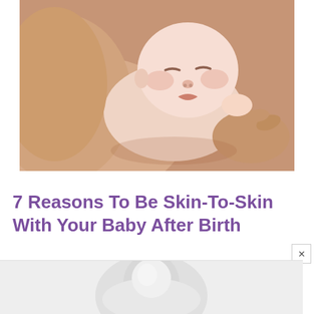[Figure (photo): A newborn baby sleeping peacefully on an adult's bare chest/shoulder, with adult hands cradling the baby. Skin-to-skin contact image.]
7 Reasons To Be Skin-To-Skin With Your Baby After Birth
[Figure (photo): Partial view of another image at the bottom of the page, showing a baby or person in light/white clothing, partially cropped.]